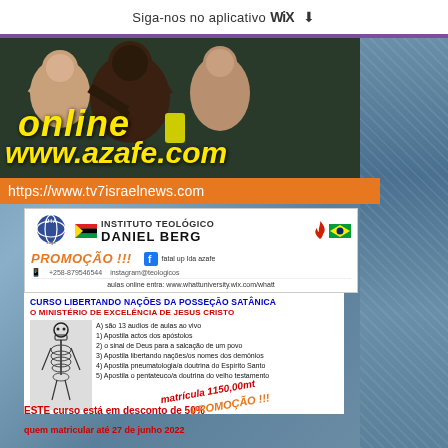Siga-nos no aplicativo WiX ⬇
[Figure (photo): Group of people smiling with text overlay 'online' and 'www.azafe.com' in yellow]
https://www.tv7israelnews.com
[Figure (infographic): Instituto Teológico Daniel Berg promotional banner with logos, flags, contact info, PROMOÇÃO text]
CURSO LIBERTANDO NAÇÕES DA POSSEÇÃO SATÂNICA
O MINISTÉRIO DE EXCELÊNCIA DE JESUS CRISTO
A) são 13 audios de aulas ao vivo
1) Apostila actos dos apóstolos
2) o sinal de Deus para a salcação de um povo
3) Apostila libertando nações/os nomes dos demônios
4) Apostila pneumatologia/a doutrina do Espírito Santo
5) Apostila o pentateuco/a doutrina do velho testamento
matrícula 1150,00mt PROMOÇÃO !!!
ESTE curso está em desconto de 50%
quem matricular até 27 de junho 2022